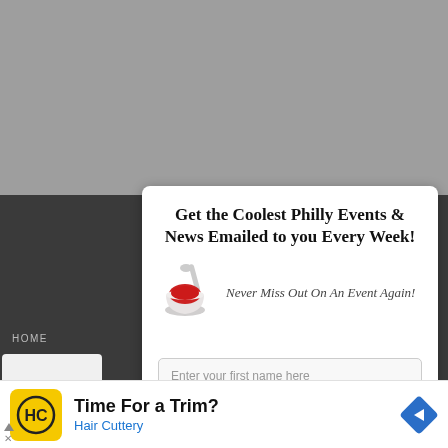Get the Coolest Philly Events & News Emailed to you Every Week!
Never Miss Out On An Event Again!
Enter your first name here
Enter a valid email here
Subscribe
HOME
STORE
[Figure (illustration): Bowl of red sauce with a spoon, clip art style icon]
Time For a Trim?
Hair Cuttery
[Figure (logo): Hair Cuttery HC logo in black and yellow circle]
[Figure (logo): Blue diamond-shaped navigation/map arrow icon]